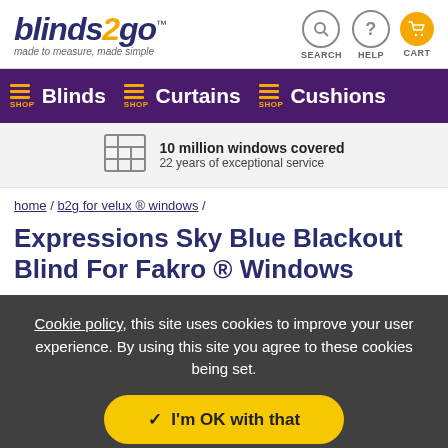blinds2go™ made to measure, made simple | SEARCH | HELP | CART
SHOP Blinds | SHOP Curtains | SHOP Cushions
10 million windows covered
22 years of exceptional service
home / b2g for velux ® windows /
Expressions Sky Blue Blackout Blind For Fakro ® Windows
Cookie policy, this site uses cookies to improve your user experience. By using this site you agree to these cookies being set.
✓ I'm OK with that